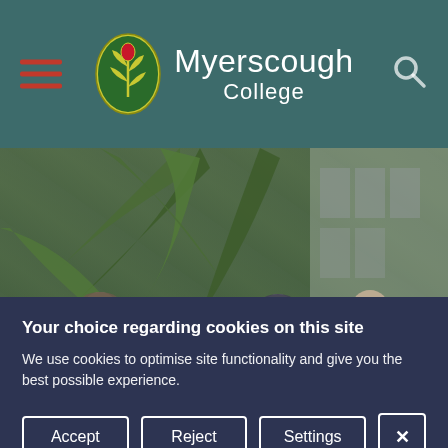[Figure (logo): Myerscough College logo with oval green badge and white text on teal header background, hamburger menu icon on left, search icon on right]
[Figure (photo): Four people in hi-vis vests and winter hats standing in front of large palm trees in a greenhouse or garden setting. Text overlay reads 'Apprenticeship Vacancies']
Your choice regarding cookies on this site
We use cookies to optimise site functionality and give you the best possible experience.
Accept | Reject | Settings | X